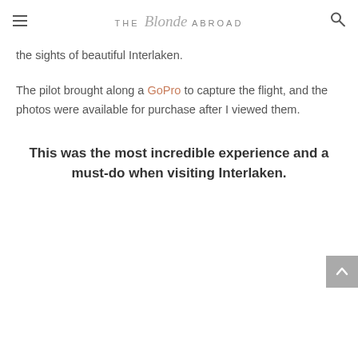THE Blonde ABROAD
the sights of beautiful Interlaken.
The pilot brought along a GoPro to capture the flight, and the photos were available for purchase after I viewed them.
This was the most incredible experience and a must-do when visiting Interlaken.